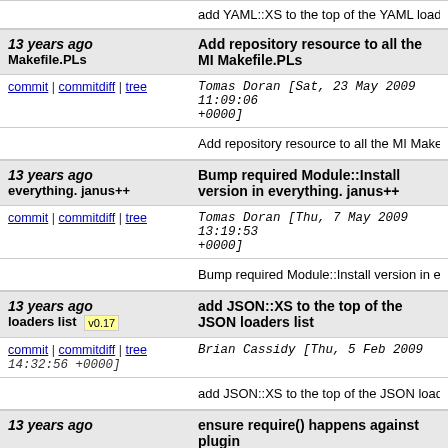add YAML::XS to the top of the YAML loaders. tidy
13 years ago Makefile.PLs | Add repository resource to all the MI Makefile.PLs
commit | commitdiff | tree  Tomas Doran [Sat, 23 May 2009 11:09:06 +0000]
Add repository resource to all the MI Makefile.PLs
13 years ago everything. janus++ | Bump required Module::Install version in everything. janus++
commit | commitdiff | tree  Tomas Doran [Thu, 7 May 2009 13:19:53 +0000]
Bump required Module::Install version in everythin
13 years ago loaders list v0.17 | add JSON::XS to the top of the JSON loaders list
commit | commitdiff | tree  Brian Cassidy [Thu, 5 Feb 2009 14:32:56 +0000]
add JSON::XS to the top of the JSON loaders list
13 years ago | ensure require() happens against plugin